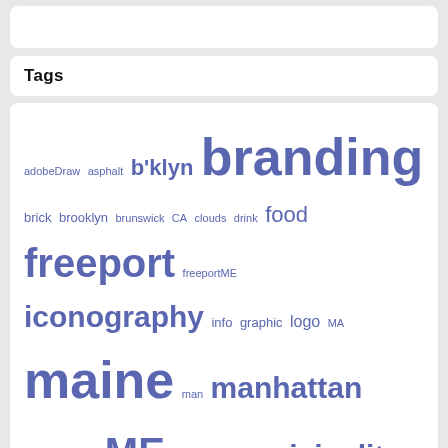Tags
adobeDraw asphalt b'klyn branding brick brooklyn brunswick CA clouds drink food freeport freeportME iconography info graphic logo MA maine man manhattan massachusetts ME monday municipality new york ny nyc packaging portland portlandME reflection rosendale sentiment sign signs sky snow south portland subway tech trees typography urban landscape woof word(s)
Contact
cellphoneSketchpad@gmail.com